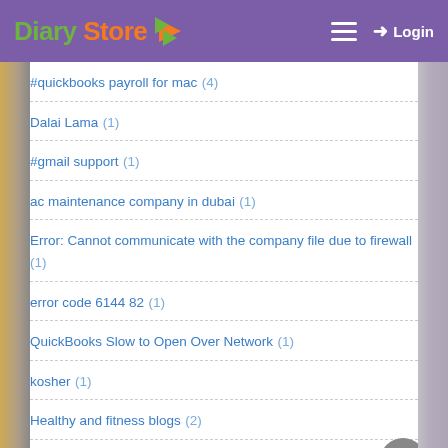Diary Store — Login
#quickbooks payroll for mac (4)
Dalai Lama (1)
#gmail support (1)
ac maintenance company in dubai (1)
Error: Cannot communicate with the company file due to firewall (1)
error code 6144 82 (1)
QuickBooks Slow to Open Over Network (1)
kosher (1)
Healthy and fitness blogs (2)
meilleurs casinos en ligne francophone (1)
QuickBooks Point of Sale Slow (1)